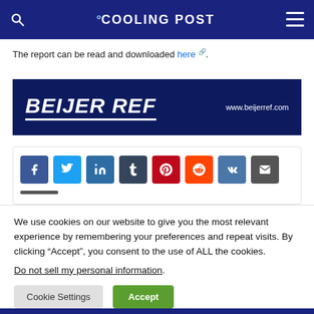COOLING POST
The report can be read and downloaded here.
[Figure (logo): Beijer Ref logo banner with white italic bold text 'BEIJER REF' on dark navy background with 'www.beijerref.com' on the right]
[Figure (infographic): Social share buttons: Facebook (blue), Twitter (light blue), LinkedIn (dark blue), Tumblr (dark slate), Pinterest (red), Reddit (orange), VK (steel blue), Email (dark grey)]
We use cookies on our website to give you the most relevant experience by remembering your preferences and repeat visits. By clicking “Accept”, you consent to the use of ALL the cookies.
Do not sell my personal information.
Cookie Settings   Accept